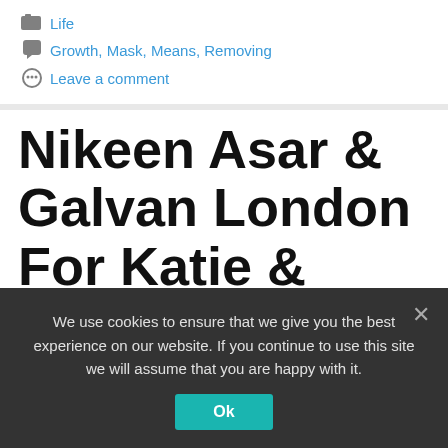Life
Growth, Mask, Means, Removing
Leave a comment
Nikeen Asar & Galvan London For Katie & Sophie & Their Nature Inspired Woodland
We use cookies to ensure that we give you the best experience on our website. If you continue to use this site we will assume that you are happy with it.